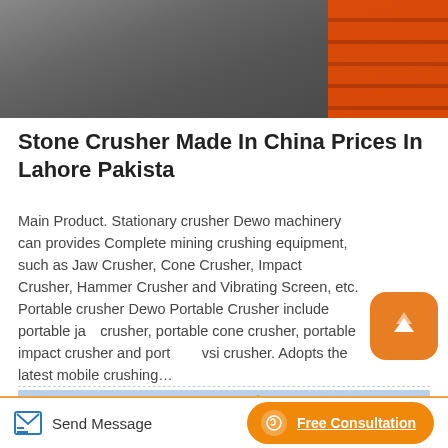[Figure (photo): Industrial machinery photo showing white equipment and orange circular components on a dark floor]
Stone Crusher Made In China Prices In Lahore Pakista
Main Product. Stationary crusher Dewo machinery can provides Complete mining crushing equipment, such as Jaw Crusher, Cone Crusher, Impact Crusher, Hammer Crusher and Vibrating Screen, etc. Portable crusher Dewo Portable Crusher include portable jaw crusher, portable cone crusher, portable impact crusher and portable vsi crusher. Adopts the latest mobile crushing…
[Figure (photo): Outdoor facility photo showing large metallic triangular/pyramid-shaped structures against a blue sky]
Send Message
Free Consultation